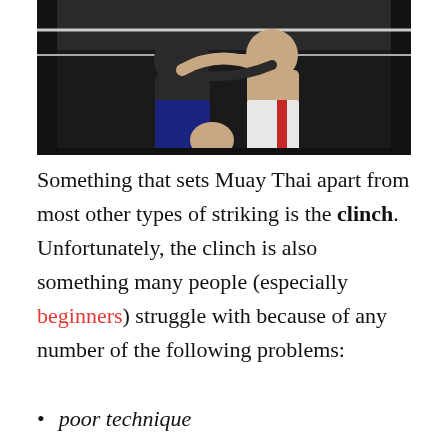[Figure (photo): Two Muay Thai fighters in a clinch during a match, wearing boxing shorts, in a boxing ring with dark background]
Something that sets Muay Thai apart from most other types of striking is the clinch. Unfortunately, the clinch is also something many people (especially beginners) struggle with because of any number of the following problems:
poor technique